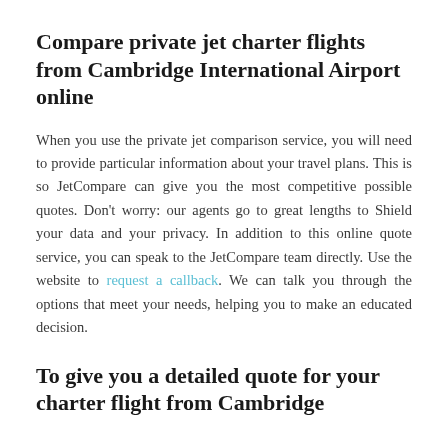Compare private jet charter flights from Cambridge International Airport online
When you use the private jet comparison service, you will need to provide particular information about your travel plans. This is so JetCompare can give you the most competitive possible quotes. Don’t worry: our agents go to great lengths to Shield your data and your privacy. In addition to this online quote service, you can speak to the JetCompare team directly. Use the website to request a callback. We can talk you through the options that meet your needs, helping you to make an educated decision.
To give you a detailed quote for your charter flight from Cambridge